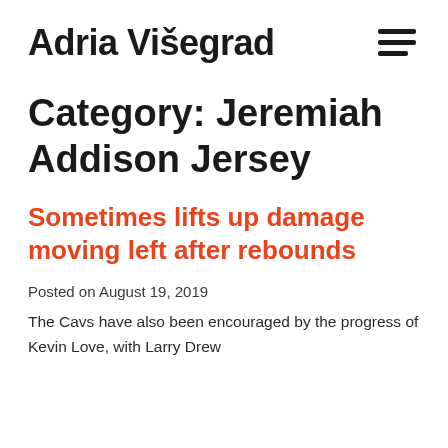Adria Višegrad
Category: Jeremiah Addison Jersey
Sometimes lifts up damage moving left after rebounds
Posted on August 19, 2019
The Cavs have also been encouraged by the progress of Kevin Love, with Larry Drew